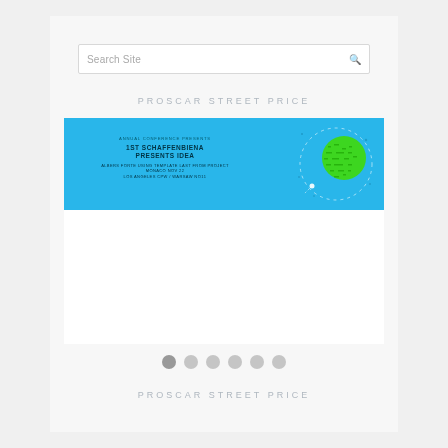Search Site
PROSCAR STREET PRICE
[Figure (screenshot): A banner image with a blue background featuring text about an event and a green globe graphic with dotted orbit lines on the right side.]
PROSCAR STREET PRICE